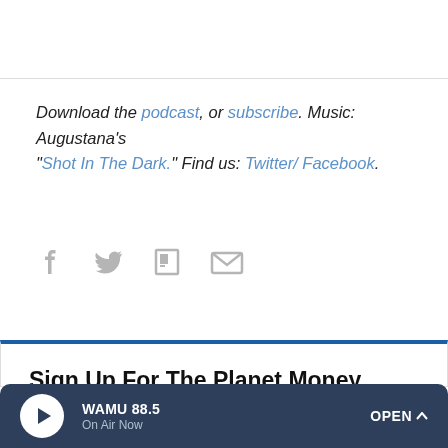Download the podcast, or subscribe. Music: Augustana's "Shot In The Dark." Find us: Twitter/ Facebook.
[Figure (illustration): Four social media sharing icons: Facebook, Twitter, Flipboard, Email — in gray]
Sign Up For The Planet Money Newsletter
Just the right amount of economics, sent weekly.
What's your email?
WAMU 88.5 On Air Now  OPEN